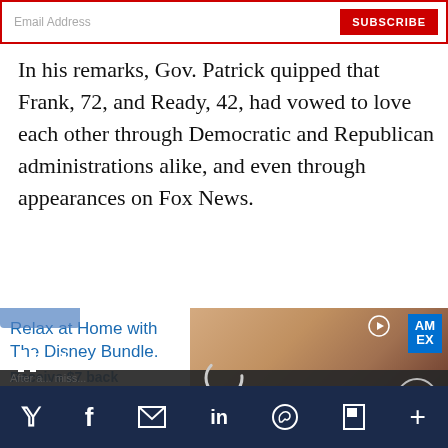[Figure (screenshot): Email subscribe bar with red SUBSCRIBE button]
In his remarks, Gov. Patrick quipped that Frank, 72, and Ready, 42, had vowed to love each other through Democratic and Republican administrations alike, and even through appearances on Fox News.
[Figure (screenshot): Advertisement for Disney Bundle with Amex - 'Relax at Home with The Disney Bundle. Receive $7 back per month' with woman laughing in background and video player overlay with pause and mute controls]
[Figure (screenshot): Social media sharing bar with Twitter, Facebook, Email, LinkedIn, WhatsApp, Flipboard, and More icons on dark navy background]